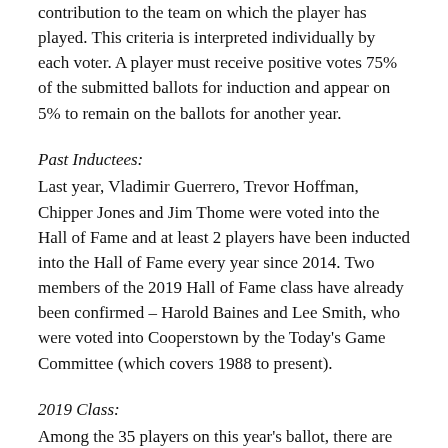contribution to the team on which the player has played. This criteria is interpreted individually by each voter. A player must receive positive votes 75% of the submitted ballots for induction and appear on 5% to remain on the ballots for another year.
Past Inductees:
Last year, Vladimir Guerrero, Trevor Hoffman, Chipper Jones and Jim Thome were voted into the Hall of Fame and at least 2 players have been inducted into the Hall of Fame every year since 2014. Two members of the 2019 Hall of Fame class have already been confirmed – Harold Baines and Lee Smith, who were voted into Cooperstown by the Today's Game Committee (which covers 1988 to present).
2019 Class:
Among the 35 players on this year's ballot, there are several players with a high chance of being inducted: Roy Halladay, Edgar Martinez, Mike Mussina and